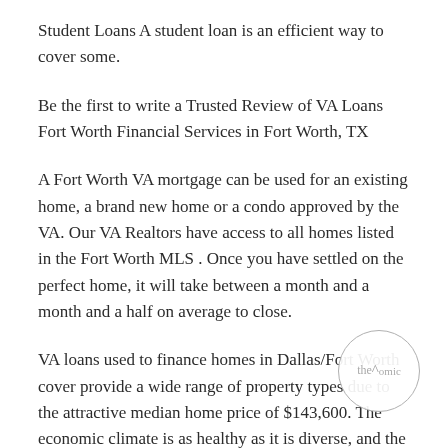Student Loans A student loan is an efficient way to cover some.
Be the first to write a Trusted Review of VA Loans Fort Worth Financial Services in Fort Worth, TX
A Fort Worth VA mortgage can be used for an existing home, a brand new home or a condo approved by the VA. Our VA Realtors have access to all homes listed in the Fort Worth MLS . Once you have settled on the perfect home, it will take between a month and a month and a half on average to close.
VA loans used to finance homes in Dallas/Fort Worth cover provide a wide range of property types due to the attractive median home price of $143,600. The economic climate is as healthy as it is diverse, and the median…